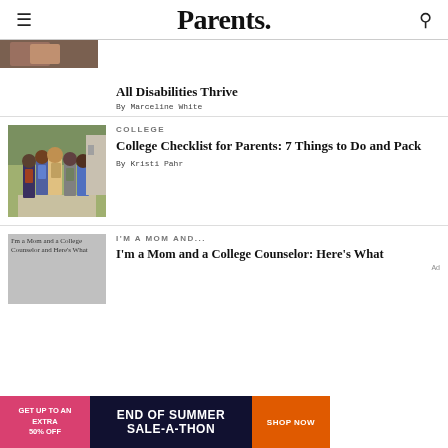Parents.
[Figure (photo): Partial image of person, cropped at top]
All Disabilities Thrive
By Marceline White
COLLEGE
[Figure (photo): Group of college students with backpacks walking away from camera on campus]
College Checklist for Parents: 7 Things to Do and Pack
By Kristi Pahr
I'M A MOM AND...
[Figure (photo): I'm a Mom and a College Counselor and Here's What - partial image]
I'm a Mom and a College Counselor: Here's What
[Figure (other): Ad banner: GET UP TO AN EXTRA 50% OFF | END OF SUMMER SALE-A-THON | SHOP NOW]